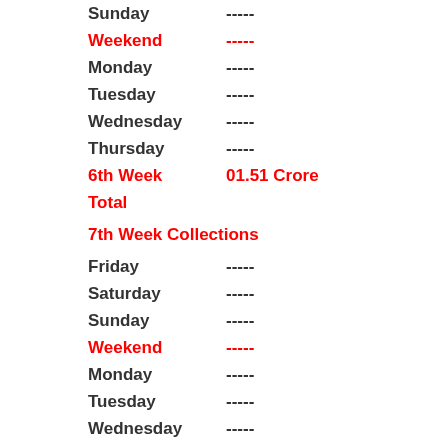Sunday  -----
Weekend  -----
Monday  -----
Tuesday  -----
Wednesday  -----
Thursday  -----
6th Week  01.51 Crore
Total
7th Week Collections
Friday  -----
Saturday  -----
Sunday  -----
Weekend  -----
Monday  -----
Tuesday  -----
Wednesday  -----
Thursday  -----